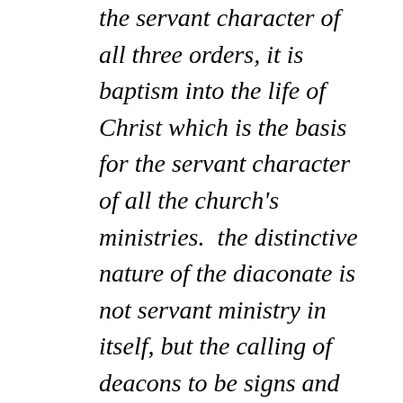the servant character of all three orders, it is baptism into the life of Christ which is the basis for the servant character of all the church's ministries.  the distinctive nature of the diaconate is not servant ministry in itself, but the calling of deacons to be signs and animators of the Christ-like service of the whole people of God in the